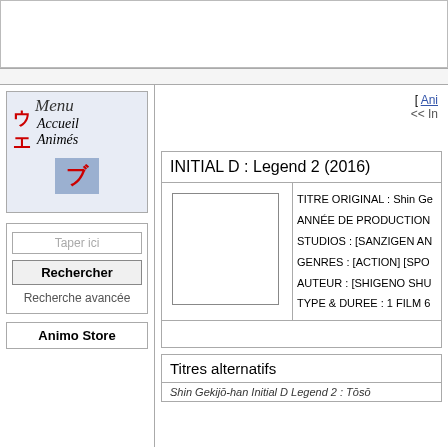[Figure (screenshot): Top banner area of a website, white/gray box placeholder for advertisement or logo]
[Figure (logo): Menu sidebar with Japanese katakana characters, 'Menu', 'Accueil', 'Animés' navigation links on a light blue-gray background]
[ Ani
<< In
INITIAL D : Legend 2 (2016)
| [poster image] | TITRE ORIGINAL : Shin Ge |
|  | ANNÉE DE PRODUCTION |
|  | STUDIOS : [SANZIGEN AN |
|  | GENRES : [ACTION] [SPO |
|  | AUTEUR : [SHIGENO SHU |
|  | TYPE & DUREE : 1 FILM 6 |
Taper ici
Rechercher
Recherche avancée
Animo Store
Titres alternatifs
Shin Gekijō-han Initial D Legend 2 : Tōsō